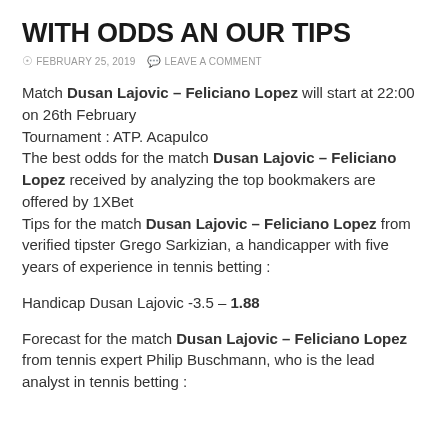WITH ODDS AN OUR TIPS
FEBRUARY 25, 2019   LEAVE A COMMENT
Match Dusan Lajovic – Feliciano Lopez will start at 22:00 on 26th February
Tournament : ATP. Acapulco
The best odds for the match Dusan Lajovic – Feliciano Lopez received by analyzing the top bookmakers are offered by 1XBet
Tips for the match Dusan Lajovic – Feliciano Lopez from verified tipster Grego Sarkizian, a handicapper with five years of experience in tennis betting :
Handicap Dusan Lajovic -3.5 – 1.88
Forecast for the match Dusan Lajovic – Feliciano Lopez from tennis expert Philip Buschmann, who is the lead analyst in tennis betting :